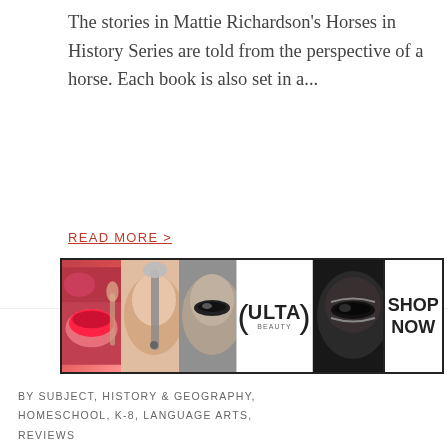The stories in Mattie Richardson's Horses in History Series are told from the perspective of a horse. Each book is also set in a...
READ MORE >
[Figure (photo): ULTA Beauty advertisement banner featuring close-up beauty/makeup images and SHOP NOW call to action]
BY SUBJECT, HISTORY & GEOGRAPHY, HOMESCHOOL, K-8, LANGUAGE ARTS, REVIEWS
[Figure (photo): Channie's educational review section with yellow background, panda logo, and sight words product image; overlaid with CLOSE button and Macy's 'Kiss Boring Lips Goodbye' advertisement]